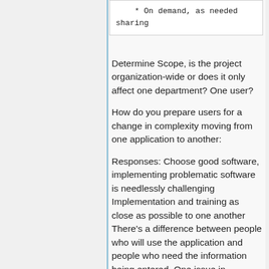* On demand, as needed sharing
Determine Scope, is the project organization-wide or does it only affect one department? One user?
How do you prepare users for a change in complexity moving from one application to another:
Responses: Choose good software, implementing problematic software is needlessly challenging Implementation and training as close as possible to one another There's a difference between people who will use the application and people who need the information being entered. One issue in implementation is managing this difference.